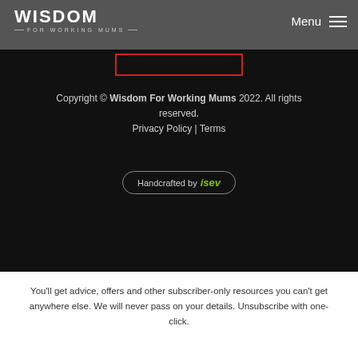WISDOM FOR WORKING MUMS | Menu
Copyright © Wisdom For Working Mums 2022. All rights reserved.
Privacy Policy | Terms
[Figure (logo): Handcrafted by isev badge with rounded border]
You'll get advice, offers and other subscriber-only resources you can't get anywhere else. We will never pass on your details. Unsubscribe with one-click.